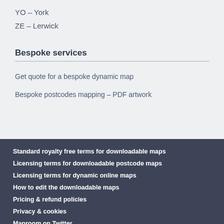YO – York
ZE – Lerwick
Bespoke services
Get quote for a bespoke dynamic map
Bespoke postcodes mapping – PDF artwork
Standard royalty free terms for downloadable maps
Licensing terms for downloadable postcode maps
Licensing terms for dynamic online maps
How to edit the downloadable maps
Pricing & refund policies
Privacy & cookies
Maproom on Twitter
All content © Maproom at Thameside Media · Award winning